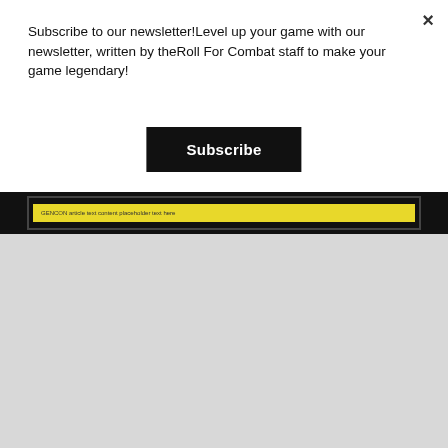Subscribe to our newsletter!Level up your game with our newsletter, written by theRoll For Combat staff to make your game legendary!
Subscribe
[Figure (screenshot): Screenshot of a gaming-related webpage or document with a yellow banner/bar element on a dark background]
Holy crap, am I just learning NOW that GENCON had a sister convention GECON EAST in Cherry Hill, New Jersey?!? That was just a few hours from my house! As a kid, there was zero chance I could get to Lake Geneva, but I could have easily gotten to New Jersey! Crap!!! I wonder what I missed?